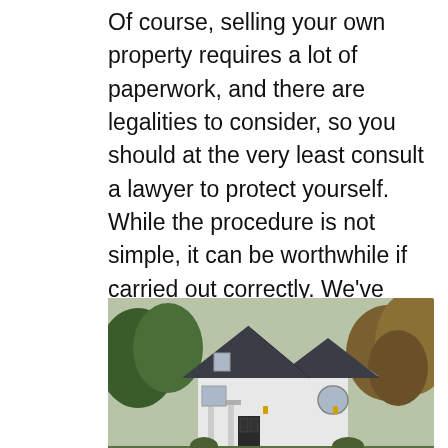Of course, selling your own property requires a lot of paperwork, and there are legalities to consider, so you should at the very least consult a lawyer to protect yourself. While the procedure is not simple, it can be worthwhile if carried out correctly. We've compiled information on how to sell your house without a Chicago real estate agent to assist you sell your home for the best potential price.
[Figure (photo): A white farmhouse-style home with a dark shingled roof, front porch with lantern lights, and arched windows, surrounded by green and autumn-colored trees.]